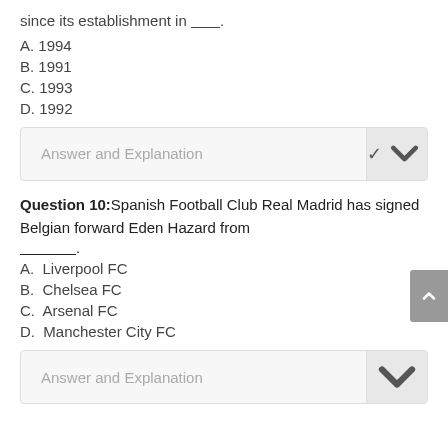since its establishment in _______.
A. 1994
B. 1991
C. 1993
D. 1992
Answer and Explanation
Question 10: Spanish Football Club Real Madrid has signed Belgian forward Eden Hazard from _____________.
A. Liverpool FC
B. Chelsea FC
C. Arsenal FC
D. Manchester City FC
Answer and Explanation